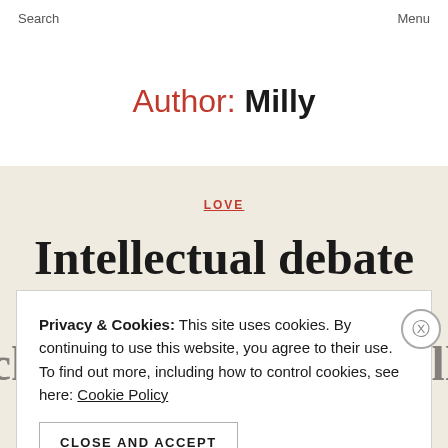Search    Menu
Author: Milly
LOVE
Intellectual debate won't
Privacy & Cookies: This site uses cookies. By continuing to use this website, you agree to their use.
To find out more, including how to control cookies, see here: Cookie Policy
CLOSE AND ACCEPT